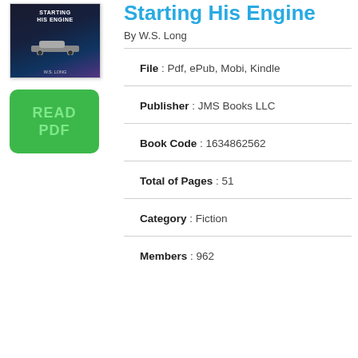[Figure (illustration): Book cover for 'Starting His Engine' by W.S. Long, dark background with car imagery]
[Figure (other): Green 'READ PDF' button]
Starting His Engine
By W.S. Long
File : Pdf, ePub, Mobi, Kindle
Publisher : JMS Books LLC
Book Code : 1634862562
Total of Pages : 51
Category : Fiction
Members : 962